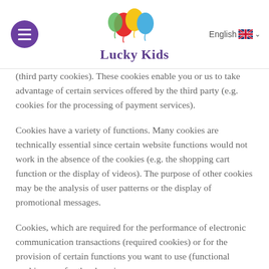Lucky Kids
(third party cookies). These cookies enable you or us to take advantage of certain services offered by the third party (e.g. cookies for the processing of payment services).
Cookies have a variety of functions. Many cookies are technically essential since certain website functions would not work in the absence of the cookies (e.g. the shopping cart function or the display of videos). The purpose of other cookies may be the analysis of user patterns or the display of promotional messages.
Cookies, which are required for the performance of electronic communication transactions (required cookies) or for the provision of certain functions you want to use (functional cookies, e.g. for the shopping